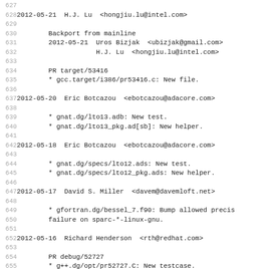627
628 2012-05-21  H.J. Lu  <hongjiu.lu@intel.com>
629
630           Backport from mainline
631           2012-05-21  Uros Bizjak  <ubizjak@gmail.com>
632                       H.J. Lu  <hongjiu.lu@intel.com>
633
634           PR target/53416
635           * gcc.target/i386/pr53416.c: New file.
636
637 2012-05-20  Eric Botcazou  <ebotcazou@adacore.com>
638
639           * gnat.dg/lto13.adb: New test.
640           * gnat.dg/lto13_pkg.ad[sb]: New helper.
641
642 2012-05-18  Eric Botcazou  <ebotcazou@adacore.com>
643
644           * gnat.dg/specs/lto12.ads: New test.
645           * gnat.dg/specs/lto12_pkg.ads: New helper.
646
647 2012-05-17  David S. Miller  <davem@davemloft.net>
648
649           * gfortran.dg/bessel_7.f90: Bump allowed precis
650           failure on sparc-*-linux-gnu.
651
652 2012-05-16  Richard Henderson  <rth@redhat.com>
653
654           PR debug/52727
655           * g++.dg/opt/pr52727.C: New testcase.
656
657 2012-05-16  Richard Guenther  <rguenther@suse.de>
658